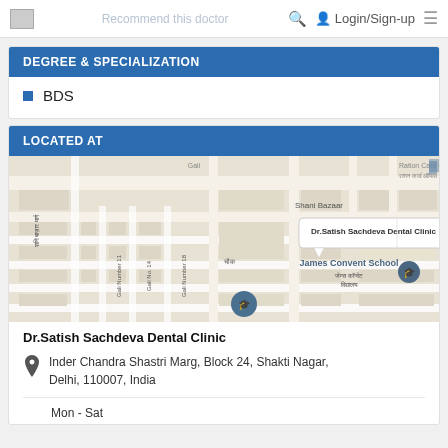Recommend this doctor | Login/Sign-up
DEGREE & SPECIALIZATION
BDS
LOCATED AT
[Figure (map): Google Maps view showing Dr.Satish Sachdeva Dental Clinic location with popup label, near Shani Bazaar, James Convent School, and various galis in Shakti Nagar, Delhi]
Dr.Satish Sachdeva Dental Clinic
Inder Chandra Shastri Marg, Block 24, Shakti Nagar, Delhi, 110007, India
Mon - Sat